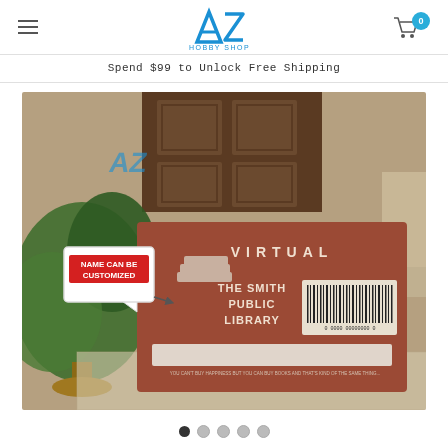[Figure (logo): AZ Hobby Shop logo in blue with stylized A and Z letters]
Spend $99 to Unlock Free Shipping
[Figure (photo): A customizable doormat styled as a virtual library card reading 'THE SMITH PUBLIC LIBRARY' with barcode and 'NAME CAN BE CUSTOMIZED' callout bubble, shown on a doorstep with plants]
[Figure (other): Carousel navigation dots, first dot active (filled), four more dots unfilled]